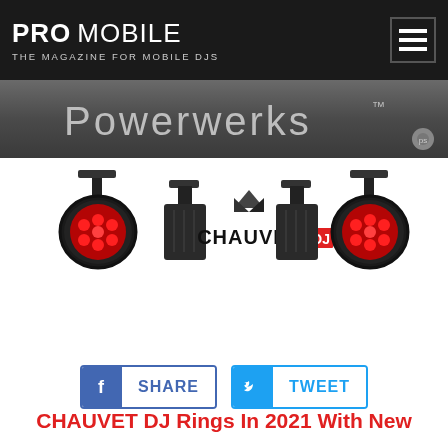PRO MOBILE — THE MAGAZINE FOR MOBILE DJS
[Figure (logo): Powerwerks logo banner — stylized text 'Powerwerks' with trademark symbol on dark grey gradient background]
[Figure (photo): Chauvet DJ product photo showing LED par lights and panel lights with CHAUVET DJ logo in center]
[Figure (infographic): Facebook Share and Twitter Tweet social sharing buttons]
CHAUVET DJ Rings In 2021 With New